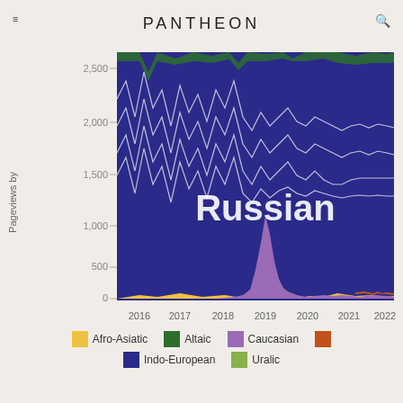PANTHEON
[Figure (area-chart): Pageviews by language family]
Afro-Asiatic  Altaic  Caucasian  Indo-European  Uralic